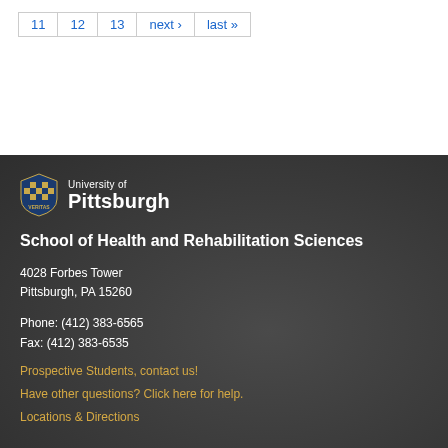11  12  13  next ›  last »
[Figure (logo): University of Pittsburgh shield logo with yellow and blue checkerboard pattern, next to text 'University of Pittsburgh' in white]
School of Health and Rehabilitation Sciences
4028 Forbes Tower
Pittsburgh, PA 15260
Phone: (412) 383-6565
Fax: (412) 383-6535
Prospective Students, contact us!
Have other questions? Click here for help.
Locations & Directions